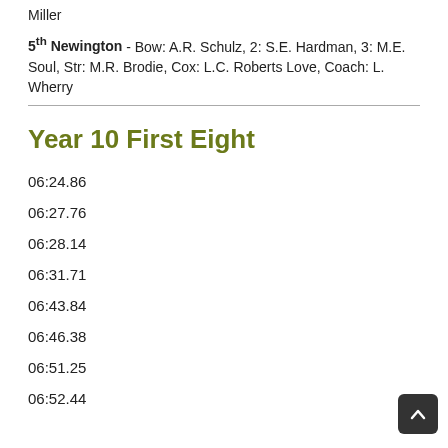Miller
5th Newington - Bow: A.R. Schulz, 2: S.E. Hardman, 3: M.E. Soul, Str: M.R. Brodie, Cox: L.C. Roberts Love, Coach: L. Wherry
Year 10 First Eight
06:24.86
06:27.76
06:28.14
06:31.71
06:43.84
06:46.38
06:51.25
06:52.44